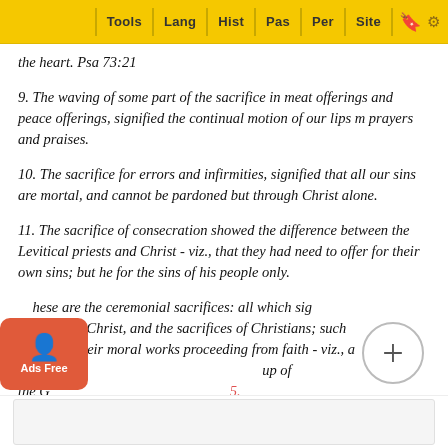Tools | Lang | Hist | Pas | Per | Site
the heart. Psa 73:21
9. The waving of some part of the sacrifice in meat offerings and peace offerings, signified the continual motion of our lips m prayers and praises.
10. The sacrifice for errors and infirmities, signified that all our sins are mortal, and cannot be pardoned but through Christ alone.
11. The sacrifice of consecration showed the difference between the Levitical priests and Christ - viz., that they had need to offer for their own sins; but he for the sins of his people only.
These are the ceremonial sacrifices: all which sign sacrifice of Christ, and the sacrifices of Christians; such as are all their moral works proceeding from faith - viz., a contr up of the G .